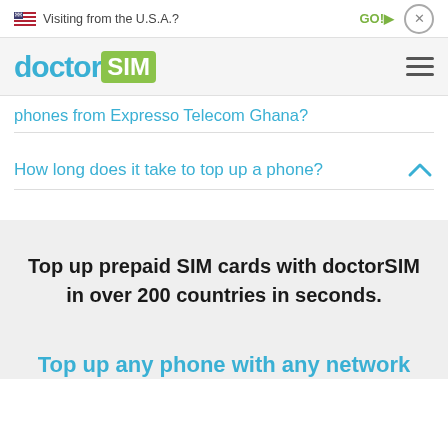Visiting from the U.S.A.? GO!▶ ✕
doctorSIM
phones from Expresso Telecom Ghana?
How long does it take to top up a phone?
Top up prepaid SIM cards with doctorSIM in over 200 countries in seconds.
Top up any phone with any network